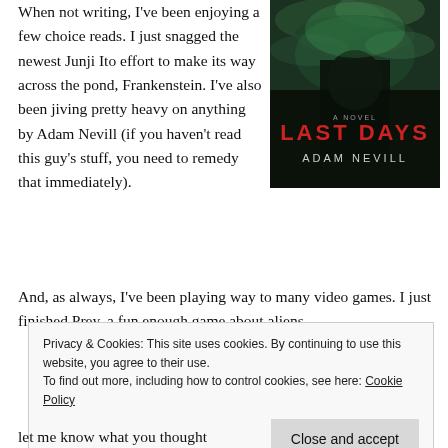When not writing, I've been enjoying a few choice reads. I just snagged the newest Junji Ito effort to make its way across the pond, Frankenstein. I've also been jiving pretty heavy on anything by Adam Nevill (if you haven't read this guy's stuff, you need to remedy that immediately).
[Figure (illustration): Book cover of 'Last Days' by Adam Nevill — dark horror cover with mossy/green creeping figure in darkness, red title text 'LAST DAYS' and author name 'ADAM NEVILL' below, with 'A NOVEL' subtitle.]
And, as always, I've been playing way to many video games. I just finished Prey, a fun enough game about aliens
Privacy & Cookies: This site uses cookies. By continuing to use this website, you agree to their use.
To find out more, including how to control cookies, see here: Cookie Policy
Close and accept
let me know what you thought